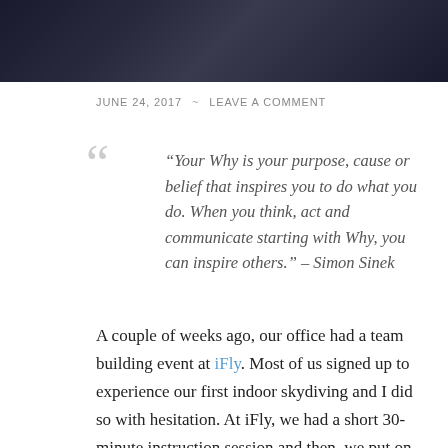[Figure (photo): Dark photograph at the top of the page, appearing to be an indoor scene with dark lighting]
JUNE 24, 2017  ~  LEAVE A COMMENT
“Your Why is your purpose, cause or belief that inspires you to do what you do. When you think, act and communicate starting with Why, you can inspire others.” – Simon Sinek
A couple of weeks ago, our office had a team building event at iFly. Most of us signed up to experience our first indoor skydiving and I did so with hesitation. At iFly, we had a short 30-minute instruction session and then, we put on safety gears. I made my dream of flight a reality! It was so amazing that I thought of bringing my 6-year